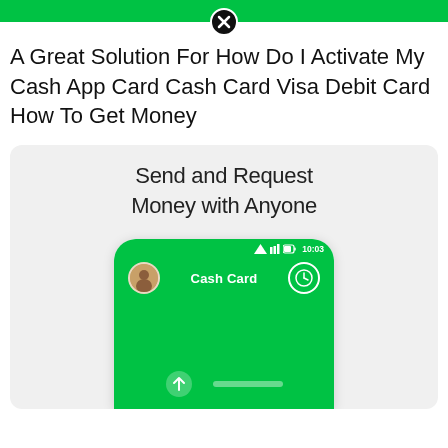[Figure (screenshot): Green top banner bar with close (X) button overlay]
A Great Solution For How Do I Activate My Cash App Card Cash Card Visa Debit Card How To Get Money
[Figure (screenshot): Cash App mobile app screenshot showing 'Send and Request Money with Anyone' text and a phone mockup with green screen showing Cash Card navigation bar with user avatar, Cash Card title, and clock icon, plus a close (X) button overlay at the bottom]